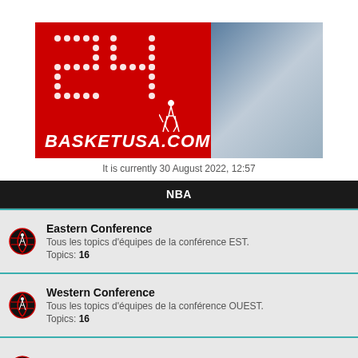[Figure (illustration): BasketUSA.com banner with red background, dot-matrix style '24' number, woman in black dress, basketball player, and site URL BASKETUSA.COM]
It is currently 30 August 2022, 12:57
NBA
Eastern Conference
Tous les topics d'équipes de la conférence EST.
Topics: 16
Western Conference
Tous les topics d'équipes de la conférence OUEST.
Topics: 16
Playoffs & Play-in 2021
Topics: 30